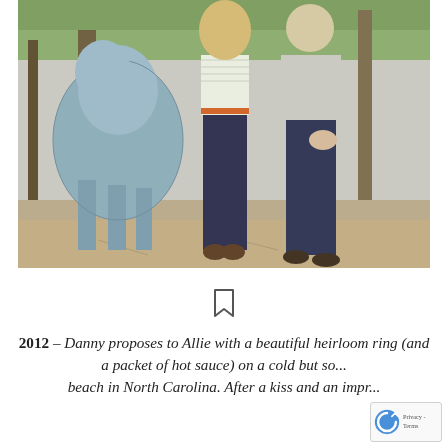[Figure (photo): Outdoor photo of two people (a woman in a white striped top with an orange belt and dark jeans, and a man in a light shirt and dark jeans) standing next to a large blue animal sculpture in a wooded path with gravel ground.]
[Figure (other): Bookmark icon (outline of a bookmark/ribbon symbol)]
2012 – Danny proposes to Allie with a beautiful heirloom ring (and a packet of hot sauce) on a cold but sunny beach in North Carolina. After a kiss and an impressive...